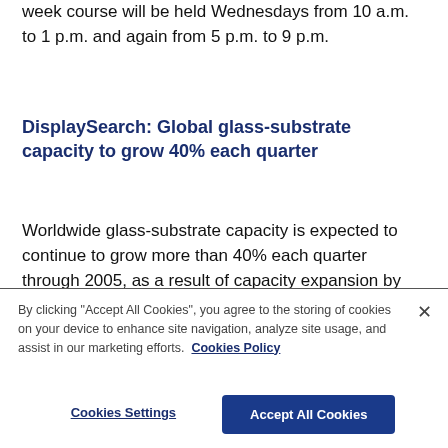week course will be held Wednesdays from 10 a.m. to 1 p.m. and again from 5 p.m. to 9 p.m.
DisplaySearch: Global glass-substrate capacity to grow 40% each quarter
Worldwide glass-substrate capacity is expected to continue to grow more than 40% each quarter through 2005, as a result of capacity expansion by existing glass-substrate suppliers and new
By clicking "Accept All Cookies", you agree to the storing of cookies on your device to enhance site navigation, analyze site usage, and assist in our marketing efforts. Cookies Policy